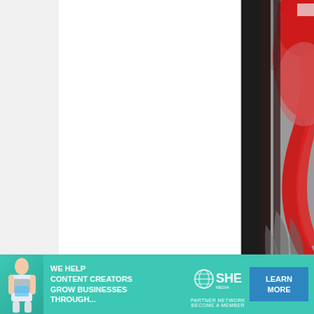[Figure (photo): Partial view of an abstract painting with bold red curved shapes and dark vertical elements against a grey background, cropped to show the right portion only]
Mulan, 10
[Figure (infographic): Advertisement banner: 'WE HELP CONTENT CREATORS GROW BUSINESSES THROUGH...' with SHE Media Partner Network logo and a 'LEARN MORE / BECOME A MEMBER' button]